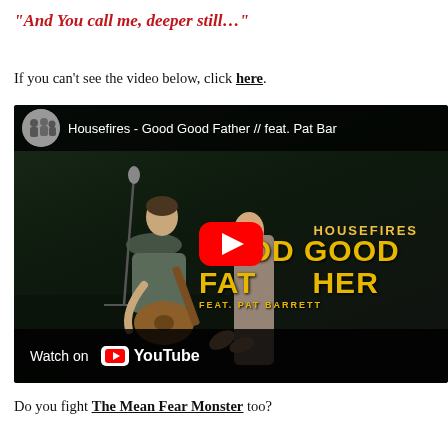“And You call me, deeper still…”
If you can’t see the video below, click here.
[Figure (screenshot): Embedded YouTube video thumbnail showing Housefires - Good Good Father // feat. Pat Barrett music video. Shows a guitarist on stage in dark lighting, with yellow text overlay reading HOUSEFIRES / GOOD GOOD FATHER / FEAT. PAT BARRETT. A red YouTube play button is centered. The bottom shows 'Watch on YouTube'.]
Do you fight The Mean Fear Monster too?